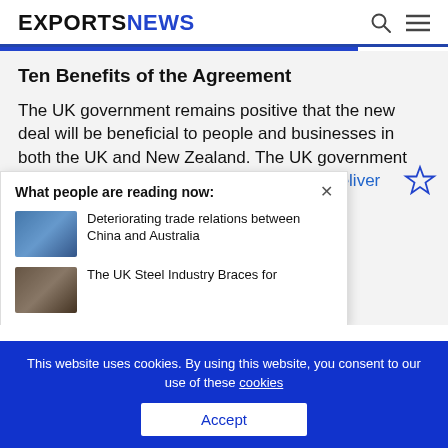EXPORTSNEWS
Ten Benefits of the Agreement
The UK government remains positive that the new deal will be beneficial to people and businesses in both the UK and New Zealand. The UK government claims that the free trade agreement will "deliver... communities... ng the leveling up"
What people are reading now: × Deteriorating trade relations between China and Australia | The UK Steel Industry Braces for...
This website uses cookies. By using this website, you consent to our use of these cookies
Accept